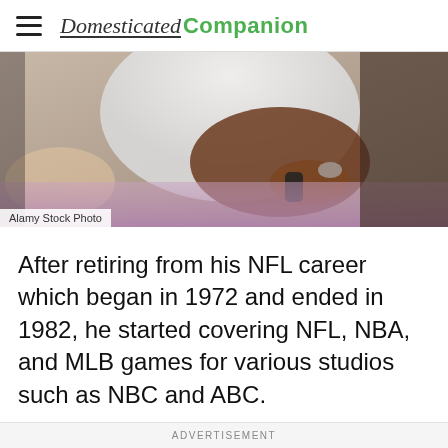Domesticated Companion
[Figure (photo): Close-up photo of people, one person wearing a white t-shirt with a bracelet, holding something, another hand visible with a ring. Soft blurred background with purple tones.]
Alamy Stock Photo
After retiring from his NFL career which began in 1972 and ended in 1982, he started covering NFL, NBA, and MLB games for various studios such as NBC and ABC.
ADVERTISEMENT